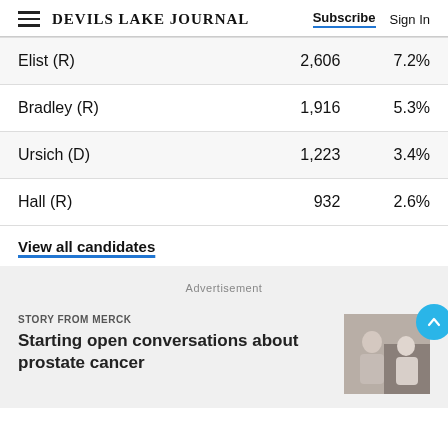DEVILS LAKE JOURNAL | Subscribe | Sign In
|  | Votes | Pct |
| --- | --- | --- |
| Elist (R) | 2,606 | 7.2% |
| Bradley (R) | 1,916 | 5.3% |
| Ursich (D) | 1,223 | 3.4% |
| Hall (R) | 932 | 2.6% |
View all candidates
Advertisement
STORY FROM MERCK
Starting open conversations about prostate cancer
[Figure (photo): Photo of two people in conversation, illustrating story about prostate cancer]